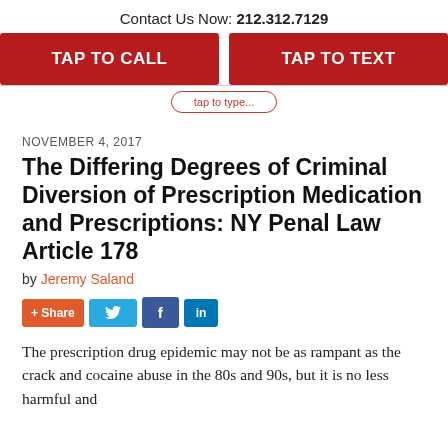Contact Us Now: 212.312.7129
TAP TO CALL
TAP TO TEXT
NOVEMBER 4, 2017
The Differing Degrees of Criminal Diversion of Prescription Medication and Prescriptions: NY Penal Law Article 178
by Jeremy Saland
[Figure (infographic): Social share buttons: + Share (orange), Twitter bird icon (blue), Facebook f icon (dark blue), LinkedIn in icon (blue)]
The prescription drug epidemic may not be as rampant as the crack and cocaine abuse in the 80s and 90s, but it is no less harmful and